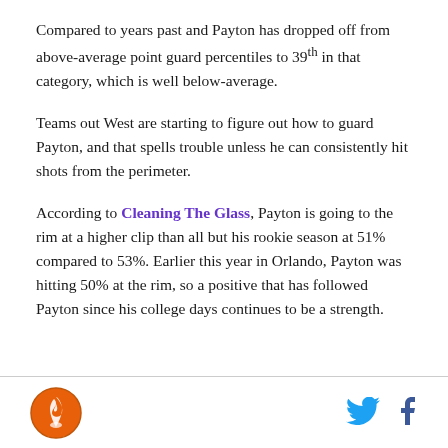Compared to years past and Payton has dropped off from above-average point guard percentiles to 39th in that category, which is well below-average.
Teams out West are starting to figure out how to guard Payton, and that spells trouble unless he can consistently hit shots from the perimeter.
According to Cleaning The Glass, Payton is going to the rim at a higher clip than all but his rookie season at 51% compared to 53%. Earlier this year in Orlando, Payton was hitting 50% at the rim, so a positive that has followed Payton since his college days continues to be a strength.
[logo] [twitter] [facebook]